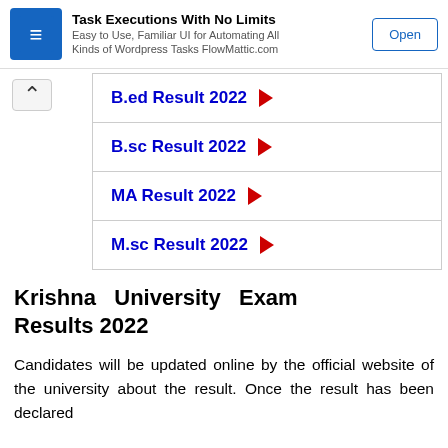[Figure (screenshot): Advertisement banner for FlowMattic: Task Executions With No Limits. Easy to Use, Familiar UI for Automating All Kinds of Wordpress Tasks FlowMattic.com. Open button shown.]
B.ed Result 2022
B.sc Result 2022
MA Result 2022
M.sc Result 2022
Krishna University Exam Results 2022
Candidates will be updated online by the official website of the university about the result. Once the result has been declared